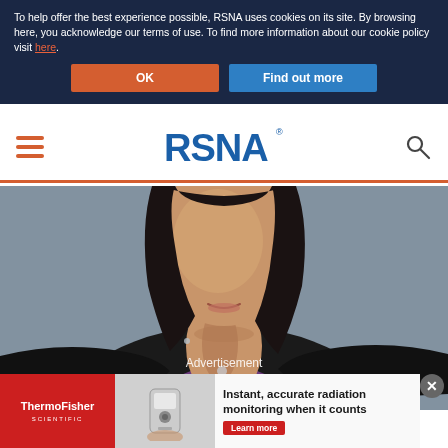To help offer the best experience possible, RSNA uses cookies on its site. By browsing here, you acknowledge our terms of use. To find more information about our cookie policy visit here.
[Figure (screenshot): Cookie consent banner with OK and Find out more buttons on dark navy background]
[Figure (logo): RSNA logo with hamburger menu and search icon in site header]
[Figure (photo): Portrait photo of a woman with dark hair wearing a black blazer and purple top, smiling, photographed from shoulders up against a grey background]
Advertisement
[Figure (infographic): ThermoFisher Scientific advertisement banner: Instant, accurate radiation monitoring when it counts. Learn more button.]